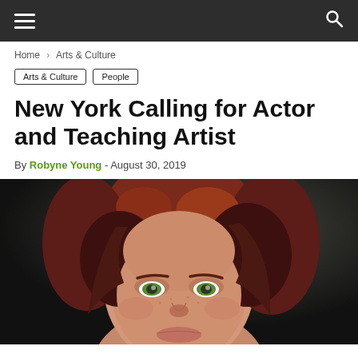Navigation bar with hamburger menu and search icon
Home › Arts & Culture
Arts & Culture   People
New York Calling for Actor and Teaching Artist
By Robyne Young - August 30, 2019
[Figure (photo): Close-up portrait of a woman with auburn/red hair and green eyes against a dark background]